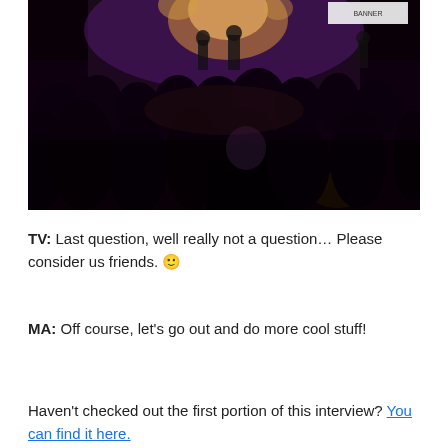[Figure (photo): Concert/event crowd photo with dark silhouettes of audience members in foreground and a lit stage with performers and purple/warm lighting in background. A banner is visible at the top right.]
TV: Last question, well really not a question… Please consider us friends. 🙂
MA: Off course, let's go out and do more cool stuff!
Haven't checked out the first portion of this interview? You can find it here.